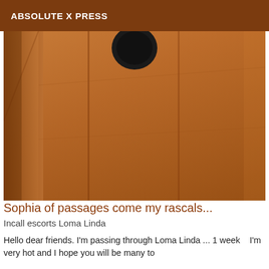ABSOLUTE X PRESS
[Figure (photo): Close-up photo of a wooden surface or door with warm brown tones; a dark round object (possibly a doorknob or shoe) is partially visible at the top center.]
Sophia of passages come my rascals...
Incall escorts Loma Linda
Hello dear friends. I'm passing through Loma Linda ... 1 week    I'm very hot and I hope you will be many to